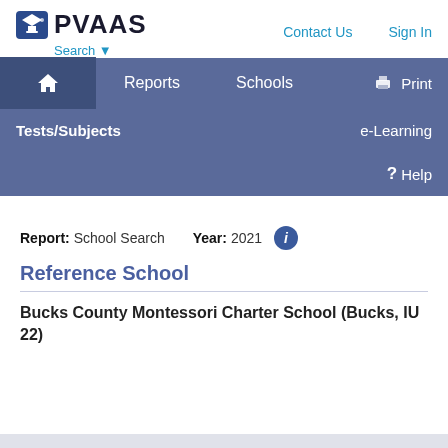[Figure (logo): PVAAS logo with graduation cap shield icon and 'PVAAS' text in bold, with 'Search' dropdown link below]
Contact Us   Sign In
Reports   Schools   Print
Tests/Subjects   e-Learning
? Help
Report: School Search   Year: 2021
Reference School
Bucks County Montessori Charter School (Bucks, IU 22)